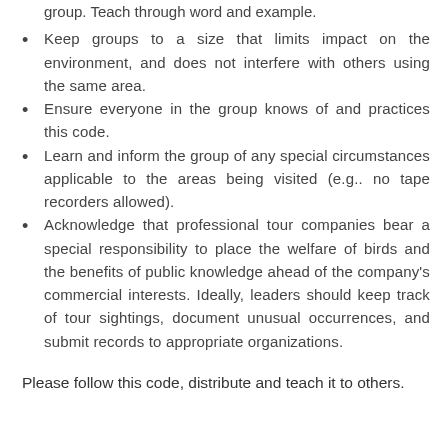group. Teach through word and example.
Keep groups to a size that limits impact on the environment, and does not interfere with others using the same area.
Ensure everyone in the group knows of and practices this code.
Learn and inform the group of any special circumstances applicable to the areas being visited (e.g.. no tape recorders allowed).
Acknowledge that professional tour companies bear a special responsibility to place the welfare of birds and the benefits of public knowledge ahead of the company’s commercial interests. Ideally, leaders should keep track of tour sightings, document unusual occurrences, and submit records to appropriate organizations.
Please follow this code, distribute and teach it to others.